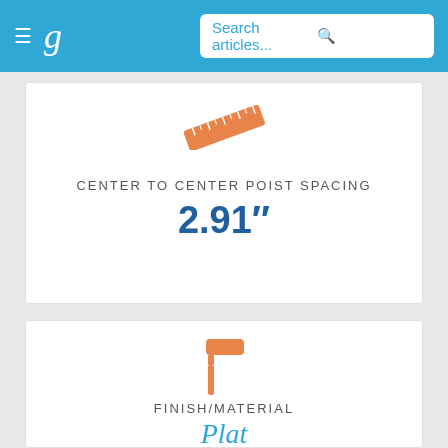g | Search articles...
[Figure (illustration): Orange ruler icon rotated diagonally]
CENTER TO CENTER POIST SPACING
2.91"
[Figure (illustration): Orange paint roller icon]
FINISH/MATERIAL
Plat...